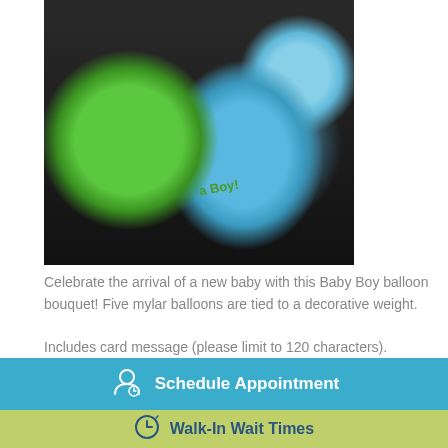[Figure (photo): Baby Boy balloon bouquet with green and blue mylar balloons including a polka-dot 'It's a Boy!' balloon tied with decorative ribbons against a dark background]
Celebrate the arrival of a new baby with this Baby Boy balloon bouquet! Five mylar balloons are tied to a decorative weight.
Includes card message (please limit to 120 characters).
Schedule Appointment
Walk-In Wait Times